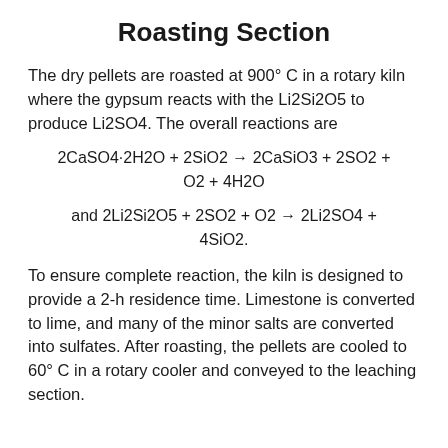Roasting Section
The dry pellets are roasted at 900° C in a rotary kiln where the gypsum reacts with the Li2Si2O5 to produce Li2SO4. The overall reactions are
To ensure complete reaction, the kiln is designed to provide a 2-h residence time. Limestone is converted to lime, and many of the minor salts are converted into sulfates. After roasting, the pellets are cooled to 60° C in a rotary cooler and conveyed to the leaching section.